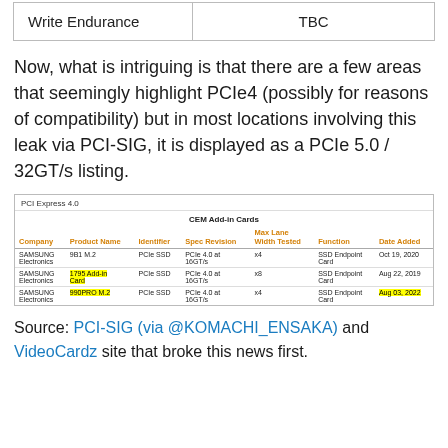| Write Endurance | TBC |
| --- | --- |
Now, what is intriguing is that there are a few areas that seemingly highlight PCIe4 (possibly for reasons of compatibility) but in most locations involving this leak via PCI-SIG, it is displayed as a PCIe 5.0 / 32GT/s listing.
[Figure (screenshot): PCI Express 4.0 CEM Add-in Cards table showing Samsung Electronics entries including 9B1 M.2, 1795 Add-in Card (highlighted), and 990PRO M.2 (highlighted), all with PCIe SSD identifier, PCIe 4.0 at 16GT/s spec revision.]
Source: PCI-SIG (via @KOMACHI_ENSAKA) and VideoCardz site that broke this news first.